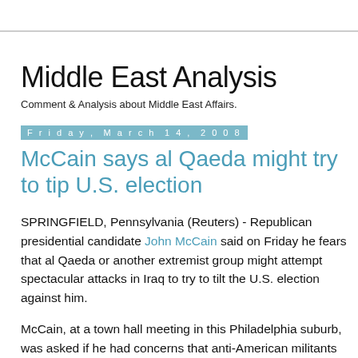Middle East Analysis
Comment & Analysis about Middle East Affairs.
Friday, March 14, 2008
McCain says al Qaeda might try to tip U.S. election
SPRINGFIELD, Pennsylvania (Reuters) - Republican presidential candidate John McCain said on Friday he fears that al Qaeda or another extremist group might attempt spectacular attacks in Iraq to try to tilt the U.S. election against him.
McCain, at a town hall meeting in this Philadelphia suburb, was asked if he had concerns that anti-American militants in